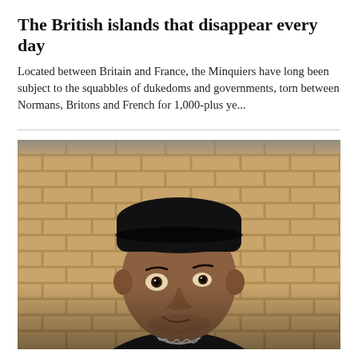The British islands that disappear every day
Located between Britain and France, the Minquiers have long been subject to the squabbles of dukedoms and governments, torn between Normans, Britons and French for 1,000-plus ye...
[Figure (photo): Portrait photo of a young man wearing a black cap and black hoodie with a silver chain necklace, standing against a brick wall background, looking at the camera with a slight smirk.]